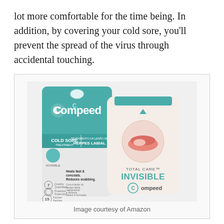lot more comfortable for the time being. In addition, by covering your cold sore, you'll prevent the spread of the virus through accidental touching.
[Figure (photo): Compeed Cold Sore Treatment Total Care Invisible patch product packaging, showing front and back of the package. The package is teal/turquoise with the Compeed brand name. It reads 'COLD SORE TREATMENT / HERPES LABIAL', 'INVISIBLE', 'TOTAL CARE INVISIBLE', '15 Patches', '7 Quantity', and shows an image of lips with a cold sore patch applied.]
Image courtesy of Amazon